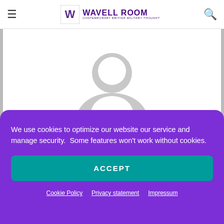Wavell Room — Contemporary British Military Thought
[Figure (illustration): Generic grey avatar/profile placeholder icon — circular head silhouette above torso shape on white background]
Tom
We use cookies to optimize our website our service and manage security.  Some features won't work without cookies.
ACCEPT
Cookie Policy   Privacy statement   Impressum